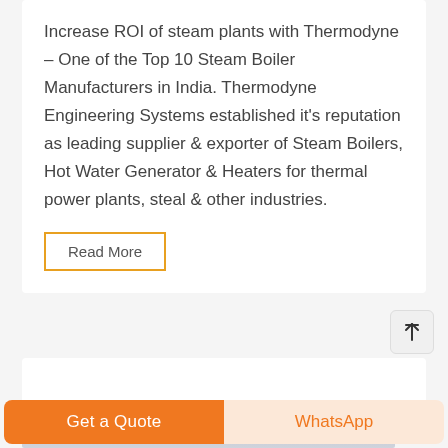Increase ROI of steam plants with Thermodyne – One of the Top 10 Steam Boiler Manufacturers in India. Thermodyne Engineering Systems established it's reputation as leading supplier & exporter of Steam Boilers, Hot Water Generator & Heaters for thermal power plants, steal & other industries.
Read More
[Figure (photo): Industrial pipes and structural beams in orange/yellow color inside a factory or power plant, with visible red and silver/grey elements]
Get a Quote
WhatsApp